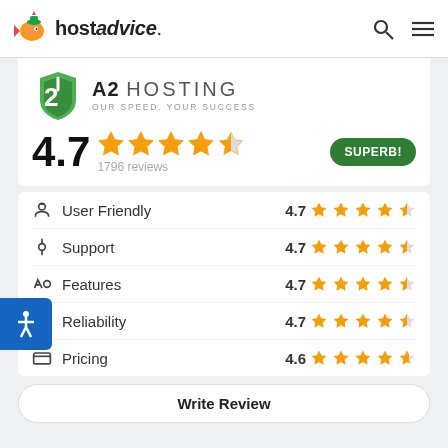hostadvice.
[Figure (logo): A2 Hosting logo with green arrow/shield and text 'A2 HOSTING OUR SPEED. YOUR SUCCESS']
4.7  ★★★★½  1796 reviews  SUPERB!
User Friendly  4.7 ★★★★½
Support  4.7 ★★★★½
Features  4.7 ★★★★½
Reliability  4.7 ★★★★½
Pricing  4.6 ★★★★½
Write Review